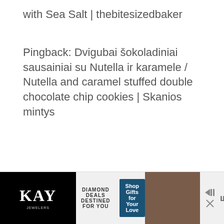with Sea Salt | thebitesizedbaker
Pingback: Dvigubai šokoladiniai sausainiai su Nutella ir karamele / Nutella and caramel stuffed double chocolate chip cookies | Skanios mintys
Pingback: Salted Caramel and Nutella Stuffed Chocolate Cookies | Lightly Browned
[Figure (other): Advertisement banner for Kay Jewelers featuring logo, 'Diamond Deals Destined for You' text, 'Shop Gifts for Your Love' button, a photo, and ad controls]